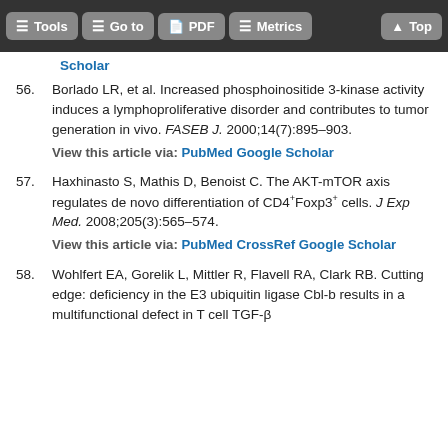Tools | Go to | PDF | Metrics | Top
Scholar
56. Borlado LR, et al. Increased phosphoinositide 3-kinase activity induces a lymphoproliferative disorder and contributes to tumor generation in vivo. FASEB J. 2000;14(7):895–903.
View this article via: PubMed Google Scholar
57. Haxhinasto S, Mathis D, Benoist C. The AKT-mTOR axis regulates de novo differentiation of CD4+Foxp3+ cells. J Exp Med. 2008;205(3):565–574.
View this article via: PubMed CrossRef Google Scholar
58. Wohlfert EA, Gorelik L, Mittler R, Flavell RA, Clark RB. Cutting edge: deficiency in the E3 ubiquitin ligase Cbl-b results in a multifunctional defect in T cell TGF-β...